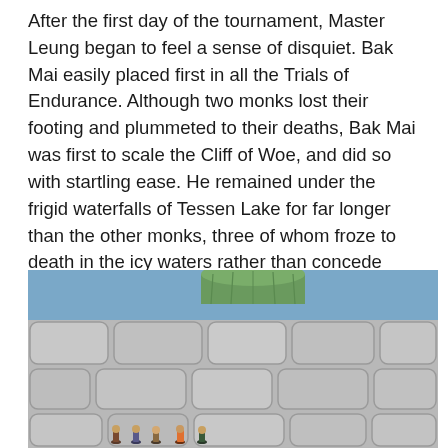After the first day of the tournament, Master Leung began to feel a sense of disquiet. Bak Mai easily placed first in all the Trials of Endurance. Although two monks lost their footing and plummeted to their deaths, Bak Mai was first to scale the Cliff of Woe, and did so with startling ease. He remained under the frigid waterfalls of Tessen Lake for far longer than the other monks, three of whom froze to death in the icy waters rather than concede defeat. He knelt on hot coals without complaint or injury for a full hour while they piled heavy stone weights upon his lap and shoulders; even though twenty-five minutes was the most any of the monks could endure; and several would forever carry horrific burns that might never fully heal.
[Figure (photo): A miniature scene showing a stone wall made of rounded grey cobblestones, with a large green cylindrical stone pillar or object on top. Small figurines are visible at the base of the wall. The background is blue.]